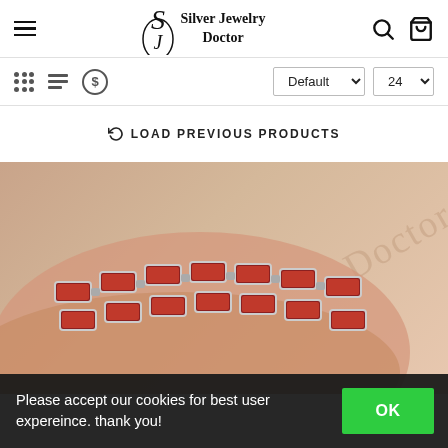Silver Jewelry Doctor
Default  24
⟳ LOAD PREVIOUS PRODUCTS
[Figure (photo): Close-up product photo of a red coral and sterling silver bracelet on a human wrist, with a 'Doctor' watermark in the background. The jewelry consists of rectangular red coral stones set in silver bezels linked together.]
Please accept our cookies for best user expereince. thank you!